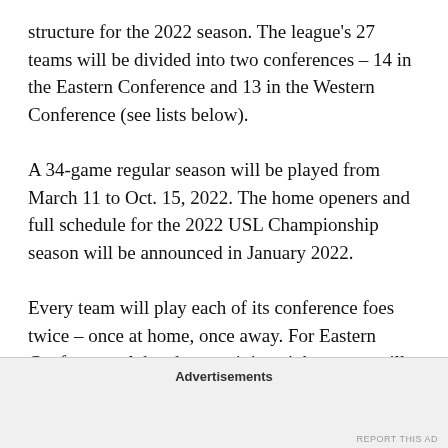structure for the 2022 season. The league's 27 teams will be divided into two conferences – 14 in the Eastern Conference and 13 in the Western Conference (see lists below).
A 34-game regular season will be played from March 11 to Oct. 15, 2022. The home openers and full schedule for the 2022 USL Championship season will be announced in January 2022.
Every team will play each of its conference foes twice – once at home, once away. For Eastern Conference clubs, the remaining eight games will be against interconference opponents from the far conference. For Western…
Advertisements